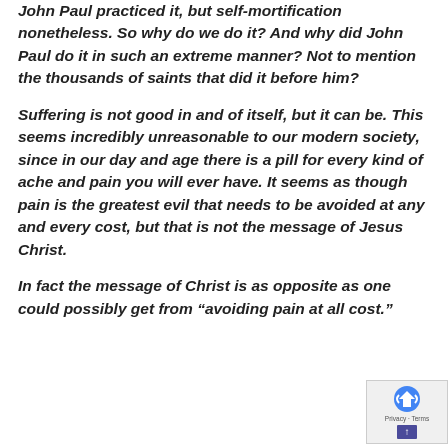John Paul practiced it, but self-mortification nonetheless.  So why do we do it?  And why did John Paul do it in such an extreme manner?  Not to mention the thousands of saints that did it before him?
Suffering is not good in and of itself, but it can be.  This seems incredibly unreasonable to our modern society, since in our day and age there is a pill for every kind of ache and pain you will ever have.  It seems as though pain is the greatest evil that needs to be avoided at any and every cost, but that is not the message of Jesus Christ.
In fact the message of Christ is as opposite as one could possibly get from “avoiding pain at all cost.”